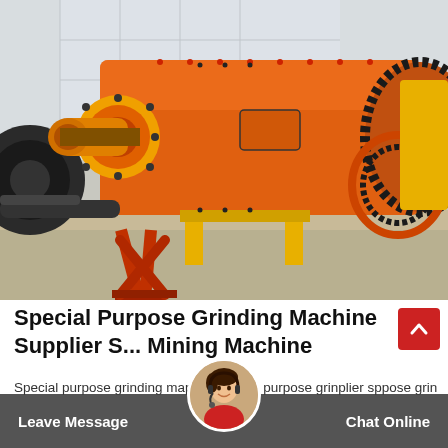[Figure (photo): Large orange industrial ball mill grinding machine with yellow support frame and large gear wheel, displayed outdoors at a manufacturing facility. Additional black and yellow mining machines visible in background.]
Special Purpose Grinding Machine Supplier S... Mining Machine
Special purpose grinding ma...plier, special purpose grind...plier sp...pose grin...
Leave Message   Chat Online